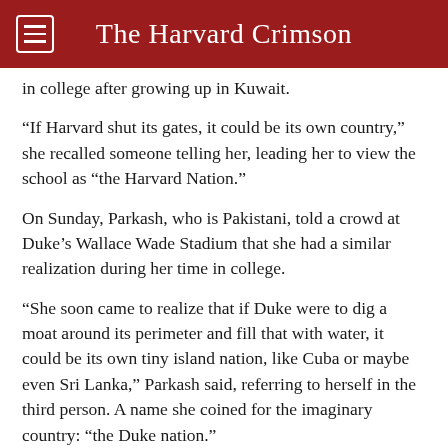The Harvard Crimson
in college after growing up in Kuwait.
“If Harvard shut its gates, it could be its own country,” she recalled someone telling her, leading her to view the school as “the Harvard Nation.”
On Sunday, Parkash, who is Pakistani, told a crowd at Duke’s Wallace Wade Stadium that she had a similar realization during her time in college.
“She soon came to realize that if Duke were to dig a moat around its perimeter and fill that with water, it could be its own tiny island nation, like Cuba or maybe even Sri Lanka,” Parkash said, referring to herself in the third person. A name she coined for the imaginary country: “the Duke nation.”